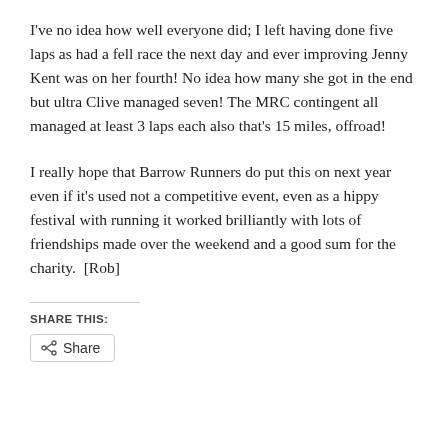I've no idea how well everyone did; I left having done five laps as had a fell race the next day and ever improving Jenny Kent was on her fourth! No idea how many she got in the end but ultra Clive managed seven! The MRC contingent all managed at least 3 laps each also that's 15 miles, offroad!
I really hope that Barrow Runners do put this on next year even if it's used not a competitive event, even as a hippy festival with running it worked brilliantly with lots of friendships made over the weekend and a good sum for the charity.  [Rob]
SHARE THIS: